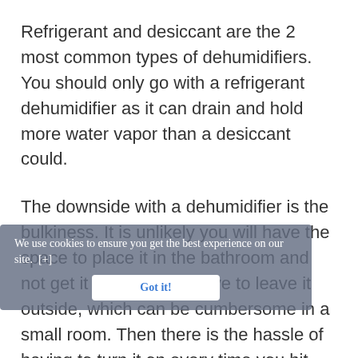Refrigerant and desiccant are the 2 most common types of dehumidifiers. You should only go with a refrigerant dehumidifier as it can drain and hold more water vapor than a desiccant could.
The downside with a dehumidifier is the bulkiness. It is unlikely you will have the space to place it in the bathroom and not get it wet; you will have to leave it outside, which can be cumbersome in a small room. Then there is the hassle of having to turn it on every time you hit the shower and empty the water tank. The motor noise is also deafening loud to the point
We use cookies to ensure you get the best experience on our site. [+]
Got it!